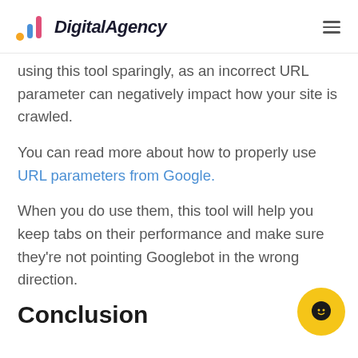DigitalAgency
using this tool sparingly, as an incorrect URL parameter can negatively impact how your site is crawled.
You can read more about how to properly use URL parameters from Google.
When you do use them, this tool will help you keep tabs on their performance and make sure they're not pointing Googlebot in the wrong direction.
Conclusion